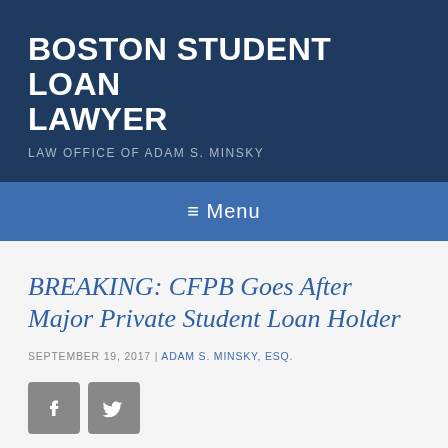BOSTON STUDENT LOAN LAWYER
LAW OFFICE OF ADAM S. MINSKY
≡ Menu
BREAKING: CFPB Goes After Major Private Student Loan Holder
SEPTEMBER 19, 2017 | ADAM S. MINSKY, ESQ.
[Figure (other): Social media share buttons for Facebook and Twitter]